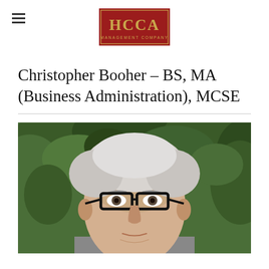[Figure (logo): HCCA Management Company logo — red rectangle background with gold/yellow 'HCCA' lettering and 'MANAGEMENT COMPANY' text below]
Christopher Booher – BS, MA (Business Administration), MCSE
[Figure (photo): Headshot photo of Christopher Booher — older man with white/grey hair, black-rimmed glasses, green leafy trees in background]